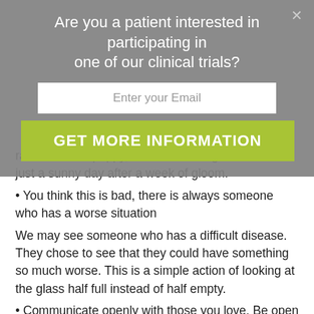Are you a patient interested in participating in one of our clinical trials?
Enter your Email
GET MORE INFORMATION
rambunctious puppy, the antics of a grandchild or just a sunny day after a week of gloom.
You think this is bad, there is always someone who has a worse situation
We may see someone who has a difficult disease. They chose to see that they could have something so much worse. This is a simple action of looking at the glass half full instead of half empty.
Communicate openly with those you love. Be open and willing to talk about hard things
The ability to talk openly with those we love when dealing with life changes can alter the way this experience is for the person with disease and their family and friends. They can turn something